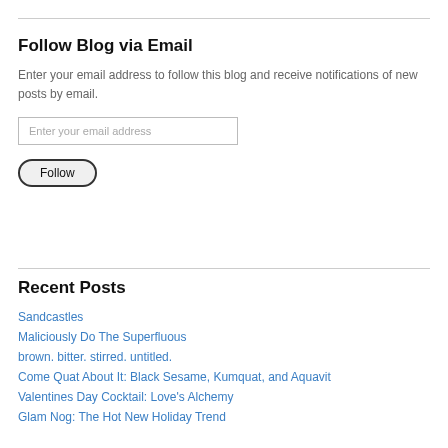Follow Blog via Email
Enter your email address to follow this blog and receive notifications of new posts by email.
Enter your email address
Follow
Recent Posts
Sandcastles
Maliciously Do The Superfluous
brown. bitter. stirred. untitled.
Come Quat About It: Black Sesame, Kumquat, and Aquavit
Valentines Day Cocktail: Love's Alchemy
Glam Nog: The Hot New Holiday Trend